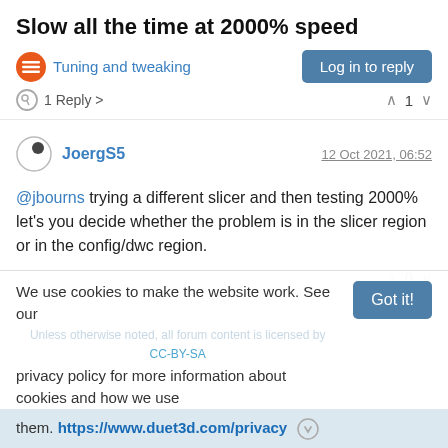Slow all the time at 2000% speed
Tuning and tweaking
Log in to reply
1 Reply >   ^ 1 v
JoergS5   12 Oct 2021, 06:52
@jbourns trying a different slicer and then testing 2000% let's you decide whether the problem is in the slicer region or in the config/dwc region.
^ 0 v
We use cookies to make the website work. See our privacy policy for more information about cookies and how we use them. https://www.duet3d.com/privacy
Got it!
Unless otherwise noted, all forum content is licensed by CC-BY-SA